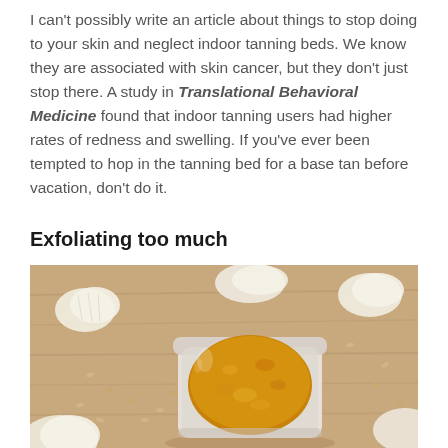I can't possibly write an article about things to stop doing to your skin and neglect indoor tanning beds. We know they are associated with skin cancer, but they don't just stop there. A study in Translational Behavioral Medicine found that indoor tanning users had higher rates of redness and swelling. If you've ever been tempted to hop in the tanning bed for a base tan before vacation, don't do it.
Exfoliating too much
[Figure (photo): A glass jar of golden-orange sugar scrub exfoliant placed on a wooden surface surrounded by scattered sesame seeds and garlic cloves/pieces.]